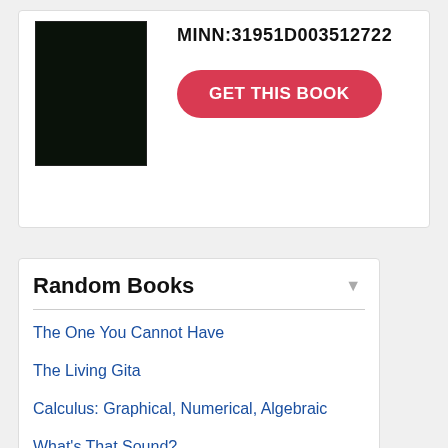[Figure (photo): Book cover thumbnail — solid black/dark green rectangle]
MINN:31951D003512722
GET THIS BOOK
Random Books
The One You Cannot Have
The Living Gita
Calculus: Graphical, Numerical, Algebraic
What's That Sound?
Stories From the Shadows
Responding to Emergency